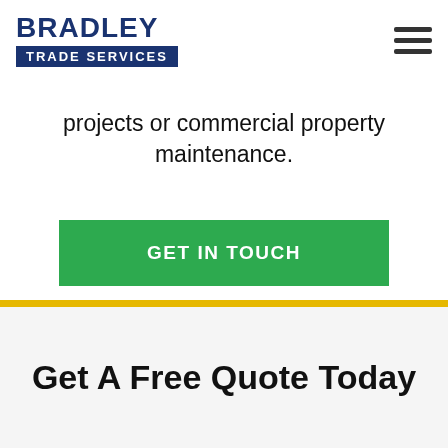[Figure (logo): Bradley Trade Services logo with dark blue text 'BRADLEY' above a dark blue rectangle containing white text 'TRADE SERVICES']
[Figure (other): Hamburger menu icon (three horizontal dark lines)]
projects or commercial property maintenance.
GET IN TOUCH
Get A Free Quote Today